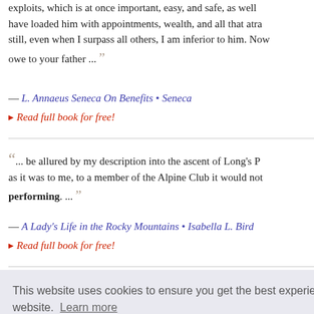exploits, which is at once important, easy, and safe, as well… have loaded him with appointments, wealth, and all that atra… still, even when I surpass all others, I am inferior to him. Now owe to your father ...
— L. Annaeus Seneca On Benefits • Seneca
▸ Read full book for free!
... be allured by my description into the ascent of Long's P… as it was to me, to a member of the Alpine Club it would not… performing. ...
— A Lady's Life in the Rocky Mountains • Isabella L. Bird
▸ Read full book for free!
This website uses cookies to ensure you get the best experience on our website. Learn more
Got it!
rand, king… tened to th… s conquest… ng his dev… ver cross, a… fervor was…
perhaps the artifice, of the moment; the sense ...